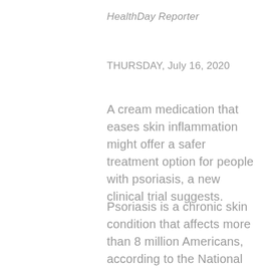HealthDay Reporter
THURSDAY, July 16, 2020
A cream medication that eases skin inflammation might offer a safer treatment option for people with psoriasis, a new clinical trial suggests.
Psoriasis is a chronic skin condition that affects more than 8 million Americans, according to the National Psoriasis Foundation. The disease arises from an abnormal immune response that triggers rapid turnover